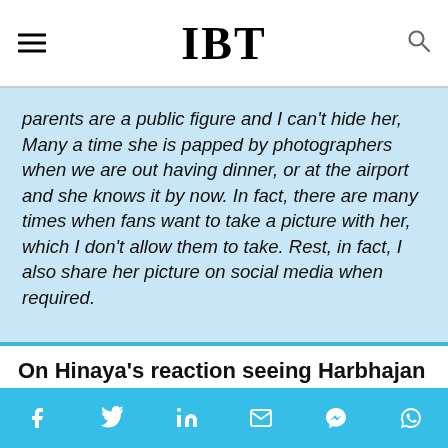IBT
parents are a public figure and I can't hide her, Many a time she is papped by photographers when we are out having dinner, or at the airport and she knows it by now. In fact, there are many times when fans want to take a picture with her, which I don't allow them to take. Rest, in fact, I also share her picture on social media when required.
On Hinaya's reaction seeing Harbhajan Singh on TV
geetabasra ✓ View profile
f  t  in  ✉  m  ©